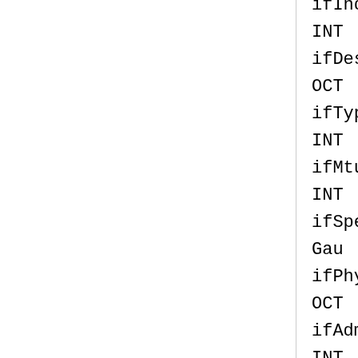ifIndex INTEGER, ifDescr OCTET, ifType INTEGER, ifMtu INTEGER, ifSpeed Gauge, ifPhysAddress OCTET, ifAdminStatus INTEGER, ifOperStatus INTEGER, ifLastChange TimeTicks, ifInOctets Counter